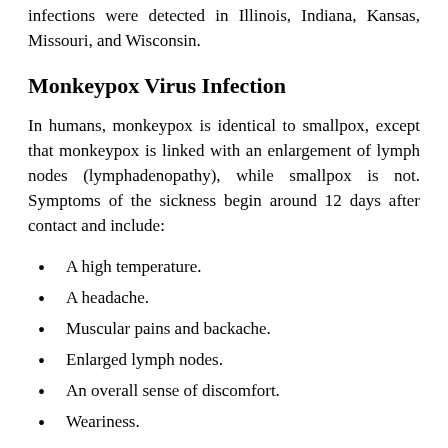infections were detected in Illinois, Indiana, Kansas, Missouri, and Wisconsin.
Monkeypox Virus Infection
In humans, monkeypox is identical to smallpox, except that monkeypox is linked with an enlargement of lymph nodes (lymphadenopathy), while smallpox is not. Symptoms of the sickness begin around 12 days after contact and include:
A high temperature.
A headache.
Muscular pains and backache.
Enlarged lymph nodes.
An overall sense of discomfort.
Weariness.